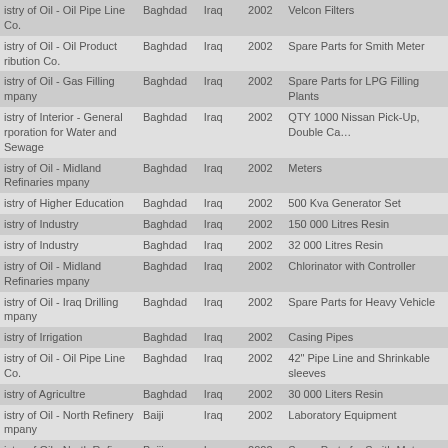| Beneficiary | City | Country | Year | Goods/Services |
| --- | --- | --- | --- | --- |
| istry of Oil - Oil Pipe Line Co. | Baghdad | Iraq | 2002 | Velcon Filters |
| istry of Oil - Oil Product ribution Co. | Baghdad | Iraq | 2002 | Spare Parts for Smith Meter |
| istry of Oil - Gas Filling mpany | Baghdad | Iraq | 2002 | Spare Parts for LPG Filling Plants |
| istry of Interior - General rporation for Water and Sewage | Baghdad | Iraq | 2002 | QTY 1000 Nissan Pick-Up, Double Ca… |
| istry of Oil - Midland Refinaries mpany | Baghdad | Iraq | 2002 | Meters |
| istry of Higher Education | Baghdad | Iraq | 2002 | 500 Kva Generator Set |
| istry of Industry | Baghdad | Iraq | 2002 | 150 000 Litres Resin |
| istry of Industry | Baghdad | Iraq | 2002 | 32 000 Litres Resin |
| istry of Oil - Midland Refinaries mpany | Baghdad | Iraq | 2002 | Chlorinator with Controller |
| istry of Oil - Iraq Drilling mpany | Baghdad | Iraq | 2002 | Spare Parts for Heavy Vehicle |
| istry of Irrigation | Baghdad | Iraq | 2002 | Casing Pipes |
| istry of Oil - Oil Pipe Line Co. | Baghdad | Iraq | 2002 | 42" Pipe Line and Shrinkable sleeves |
| istry of Agricultre | Baghdad | Iraq | 2002 | 30 000 Liters Resin |
| istry of Oil - North Refinery mpany | Baiji | Iraq | 2002 | Laboratory Equipment |
| istry of Oil - North Refinery mpany | Baiji | Iraq | 2002 | Spare Parts for Smith Meter |
| istry of Oil - North Refinery mpany | Baiji | Iraq | 2002 | Spare Parts for Smith Meter |
| istry of Oil - North Refinery mpany | Baiji | Iraq | 2002 | Clutch Unit |
| istry of Oil - South Refineries mpany | Basrah | Iraq | 2002 | Fluid System Membrane |